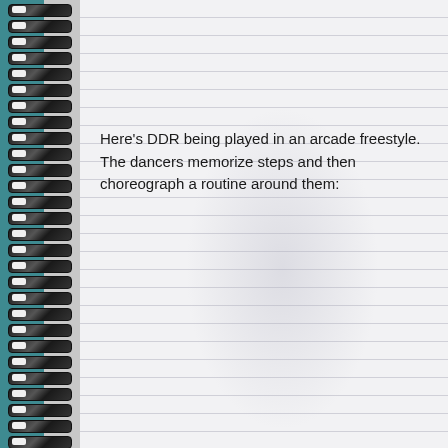Here's DDR being played in an arcade freestyle. The dancers memorize steps and then choreograph a routine around them: